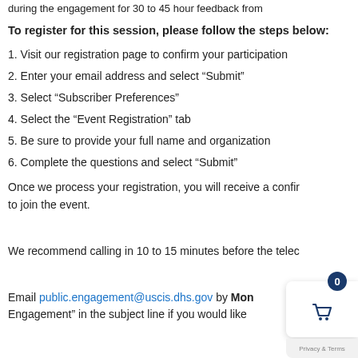during the engagement for 30 to 45 hour feedback from
To register for this session, please follow the steps below:
1. Visit our registration page to confirm your participation
2. Enter your email address and select “Submit”
3. Select “Subscriber Preferences”
4. Select the “Event Registration” tab
5. Be sure to provide your full name and organization
6. Complete the questions and select “Submit”
Once we process your registration, you will receive a confirmation to join the event.
We recommend calling in 10 to 15 minutes before the teleco
Email public.engagement@uscis.dhs.gov by Mon… “Engagement” in the subject line if you would like